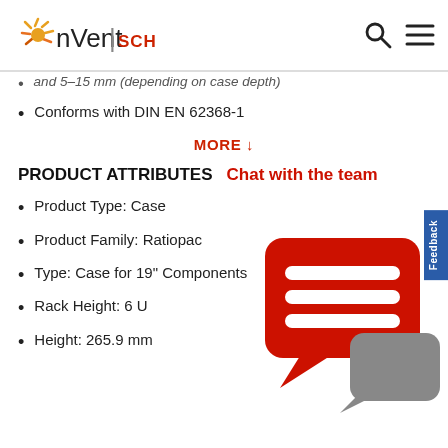nVent | SCHROFF
and 5-15 mm (depending on case depth)
Conforms with DIN EN 62368-1
MORE ↓
PRODUCT ATTRIBUTES
Product Type: Case
Product Family: Ratiopac
Type: Case for 19" Components
Rack Height: 6 U
Height: 265.9 mm
[Figure (other): Chat with the team speech bubble overlay icon in red with grey reply icon]